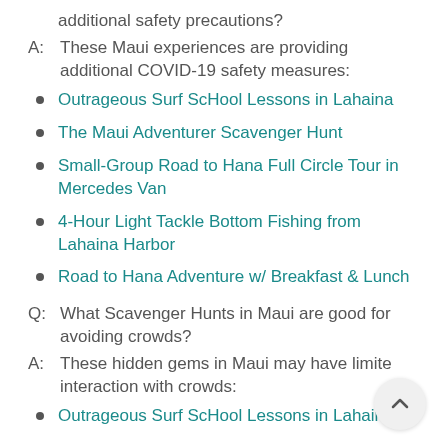additional safety precautions?
A:  These Maui experiences are providing additional COVID-19 safety measures:
Outrageous Surf ScHool Lessons in Lahaina
The Maui Adventurer Scavenger Hunt
Small-Group Road to Hana Full Circle Tour in Mercedes Van
4-Hour Light Tackle Bottom Fishing from Lahaina Harbor
Road to Hana Adventure w/ Breakfast & Lunch
Q:  What Scavenger Hunts in Maui are good for avoiding crowds?
A:  These hidden gems in Maui may have limited interaction with crowds:
Outrageous Surf ScHool Lessons in Lahaina